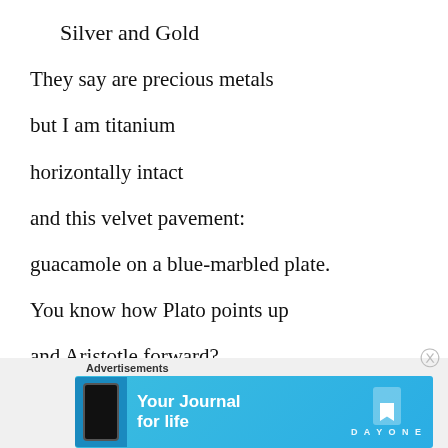Silver and Gold
They say are precious metals
but I am titanium
horizontally intact
and this velvet pavement:
guacamole on a blue-marbled plate.
You know how Plato points up
and Aristotle forward?
[Figure (infographic): Advertisement banner for Day One app — 'Your Journal for life' on a blue background with phone image and bookmark logo]
Advertisements